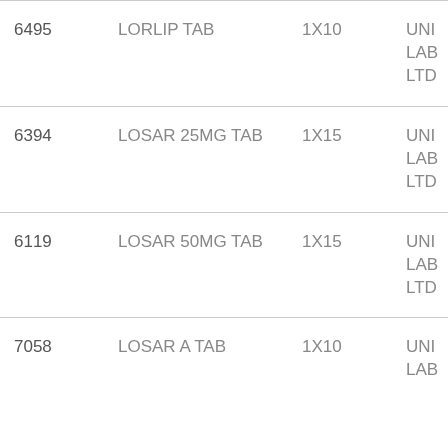| 6495 | LORLIP TAB | 1X10 | UNI LAB LTD |
| 6394 | LOSAR 25MG TAB | 1X15 | UNI LAB LTD |
| 6119 | LOSAR 50MG TAB | 1X15 | UNI LAB LTD |
| 7058 | LOSAR A TAB | 1X10 | UNI LAB |